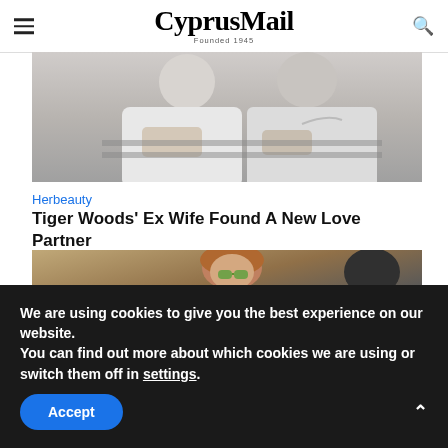CyprusMail — Founded 1945
[Figure (photo): Two people in white shirts, one wearing a Nike top, sitting close together]
Herbeauty
Tiger Woods' Ex Wife Found A New Love Partner
[Figure (photo): A woman with reddish-blonde hair wearing green glasses, partially visible, with another person in the background]
We are using cookies to give you the best experience on our website.
You can find out more about which cookies we are using or switch them off in settings.
Accept